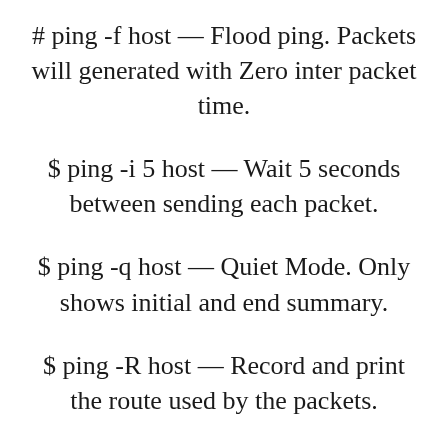# ping -f host — Flood ping. Packets will generated with Zero inter packet time.
$ ping -i 5 host — Wait 5 seconds between sending each packet.
$ ping -q host — Quiet Mode. Only shows initial and end summary.
$ ping -R host — Record and print the route used by the packets.